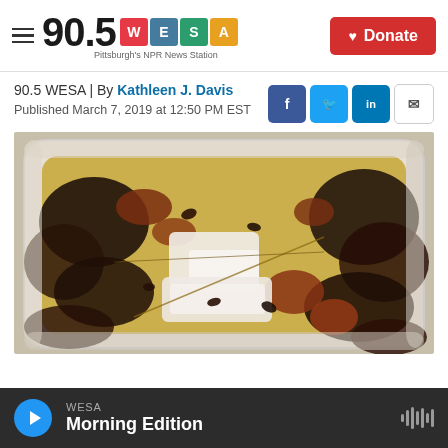90.5 WESA — Pittsburgh's NPR News Station | Donate
90.5 WESA | By Kathleen J. Davis
Published March 7, 2019 at 12:50 PM EST
[Figure (photo): A white plastic container filled with liquid and what appears to be cooked mushrooms and other dark food matter, with white pieces of tofu visible in the center.]
WESA — Morning Edition (audio player bar)